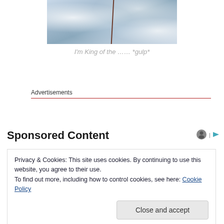[Figure (photo): Partial photo of snowy icy scene with a dark stick or pole, cropped at top]
I'm King of the …… *gulp*
Advertisements
Sponsored Content
Privacy & Cookies: This site uses cookies. By continuing to use this website, you agree to their use.
To find out more, including how to control cookies, see here: Cookie Policy
Close and accept